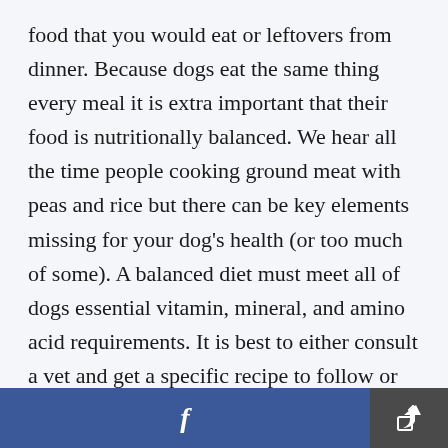food that you would eat or leftovers from dinner. Because dogs eat the same thing every meal it is extra important that their food is nutritionally balanced. We hear all the time people cooking ground meat with peas and rice but there can be key elements missing for your dog's health (or too much of some). A balanced diet must meet all of dogs essential vitamin, mineral, and amino acid requirements. It is best to either consult a vet and get a specific recipe to follow or choose a food that meets AAFCO
f [share]